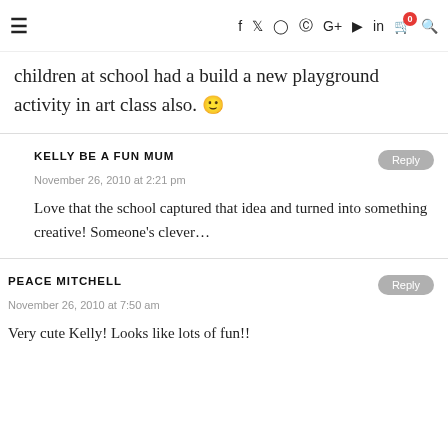≡  f  Twitter  Instagram  Pinterest  G+  YouTube  in  Cart(0)  Search
children at school had a build a new playground activity in art class also. 🙂
KELLY BE A FUN MUM
November 26, 2010 at 2:21 pm
Love that the school captured that idea and turned into something creative! Someone's clever…
PEACE MITCHELL
November 26, 2010 at 7:50 am
Very cute Kelly! Looks like lots of fun!!